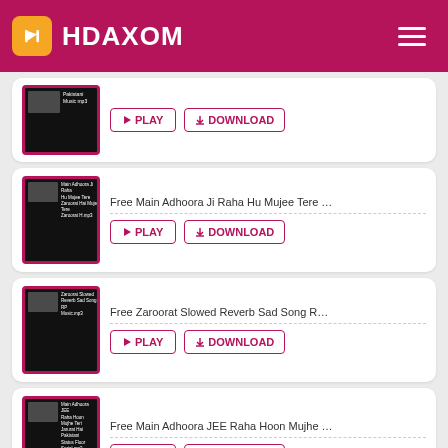HDAXOM
[Figure (screenshot): Pakistani Music mp3 thumbnail - dark background with thumbnail image and text label]
▶PLAY
⬇DOWNLOAD
Free Main Adhoora Ji Raha Hu Mujee Tere …
▶PLAY
⬇DOWNLOAD
Free Zaroorat Slowed Reverb Sad Song R…
▶PLAY
⬇DOWNLOAD
Free Main Adhoora JEE Raha Hoon Mujhe …
▶PLAY
⬇DOWNLOAD